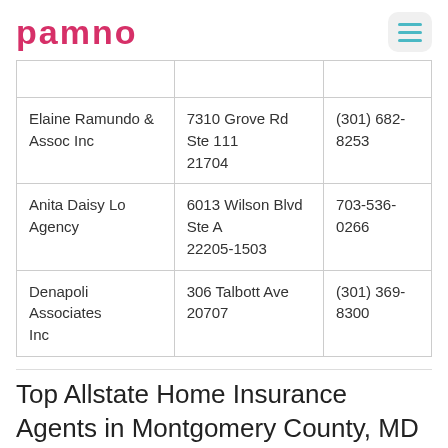pamno
|  |  |  |
| --- | --- | --- |
| Elaine Ramundo & Assoc Inc | 7310 Grove Rd Ste 111 21704 | (301) 682-8253 |
| Anita Daisy Lo Agency | 6013 Wilson Blvd Ste A 22205-1503 | 703-536-0266 |
| Denapoli Associates Inc | 306 Talbott Ave 20707 | (301) 369-8300 |
Top Allstate Home Insurance Agents in Montgomery County, MD
| Homeowners Insurance Agents | Agent Address | Contact Details |
| --- | --- | --- |